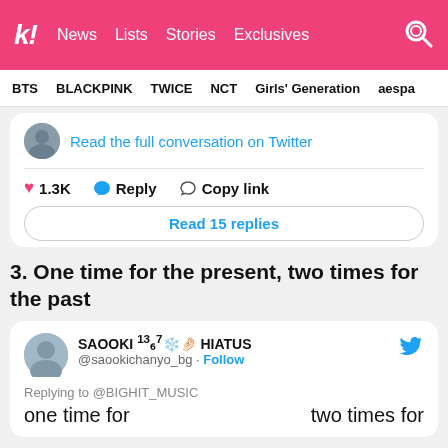k! News Lists Stories Exclusives
BTS BLACKPINK TWICE NCT Girls' Generation aespa
Read the full conversation on Twitter
♥ 1.3K  Reply  Copy link
Read 15 replies
3. One time for the present, two times for the past
SAOOKI ¹³₆⁷❄️🤌🏻 HIATUS
@saookichanyo_bg · Follow
Replying to @BIGHIT_MUSIC
one time for    two times for